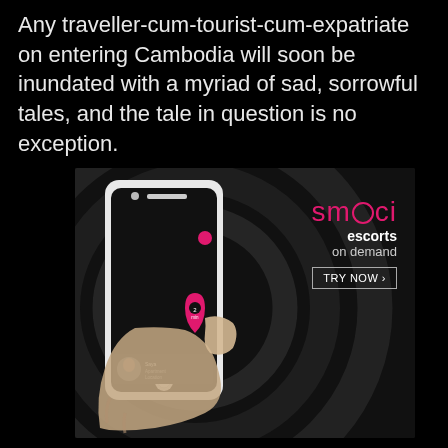Any traveller-cum-tourist-cum-expatriate on entering Cambodia will soon be inundated with a myriad of sad, sorrowful tales, and the tale in question is no exception.
[Figure (illustration): Advertisement for 'smooci escorts on demand' app showing a hand holding a smartphone with the app interface displayed, featuring a map with a pink location pin labeled '2 min' and a profile card at the bottom. The smooci logo appears in pink on the right side along with a 'TRY NOW >' button.]